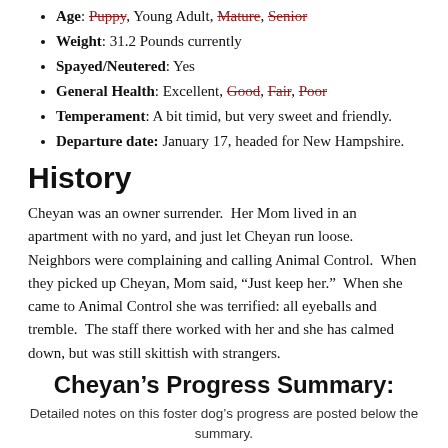Age: Puppy, Young Adult, Mature, Senior
Weight: 31.2 Pounds currently
Spayed/Neutered: Yes
General Health: Excellent, Good, Fair, Poor
Temperament: A bit timid, but very sweet and friendly.
Departure date: January 17, headed for New Hampshire.
History
Cheyan was an owner surrender.  Her Mom lived in an apartment with no yard, and just let Cheyan run loose.  Neighbors were complaining and calling Animal Control.  When they picked up Cheyan, Mom said, “Just keep her.”  When she came to Animal Control she was terrified: all eyeballs and tremble.  The staff there worked with her and she has calmed down, but was still skittish with strangers.
Cheyan’s Progress Summary:
Detailed notes on this foster dog’s progress are posted below the summary.